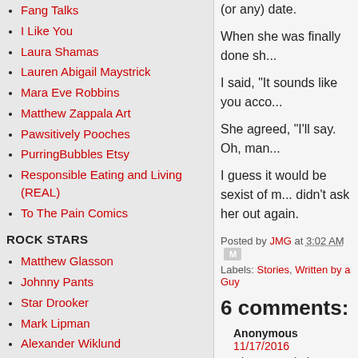Fang Talks
I Like You
Laura Shamas
Lauren Abigail Maystrick
Mara Eve Robbins
Matthew Zappala Art
Pawsitively Pooches
PurringBubbles Etsy
Responsible Eating and Living (REAL)
To The Pain Comics
ROCK STARS
Matthew Glasson
Johnny Pants
Star Drooker
Mark Lipman
Alexander Wiklund
Sweet Wednesday
(or any) date.
When she was finally done sh...
I said, "It sounds like you acco...
She agreed, "I'll say. Oh, man...
I guess it would be sexist of m... didn't ask her out again.
Posted by JMG at 3:02 AM
Labels: Stories, Written by a Guy
6 comments:
Anonymous 11/17/2016
whenever a lady moan lik... beached whale's matting...